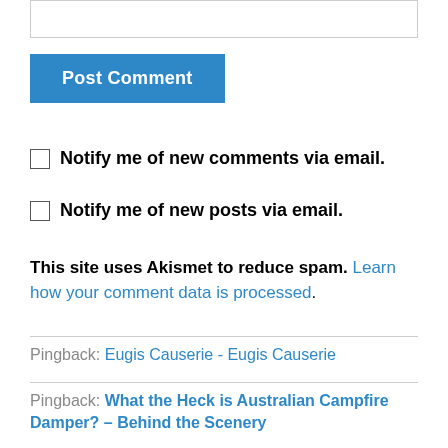[input box]
Post Comment
Notify me of new comments via email.
Notify me of new posts via email.
This site uses Akismet to reduce spam. Learn how your comment data is processed.
Pingback: Eugis Causerie - Eugis Causerie
Pingback: What the Heck is Australian Campfire Damper? – Behind the Scenery